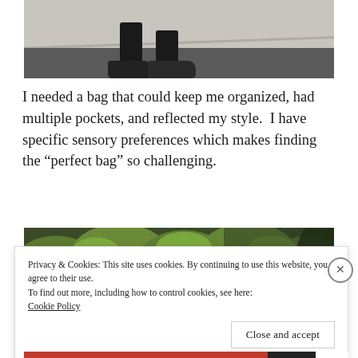[Figure (photo): Photo of person's legs and dark shoes standing on asphalt/concrete surface, viewed from below waist]
I needed a bag that could keep me organized, had multiple pockets, and reflected my style.  I have specific sensory preferences which makes finding the “perfect bag” so challenging.
[Figure (photo): Photo of green foliage/bushes outdoors]
Privacy & Cookies: This site uses cookies. By continuing to use this website, you agree to their use.
To find out more, including how to control cookies, see here: Cookie Policy
Close and accept